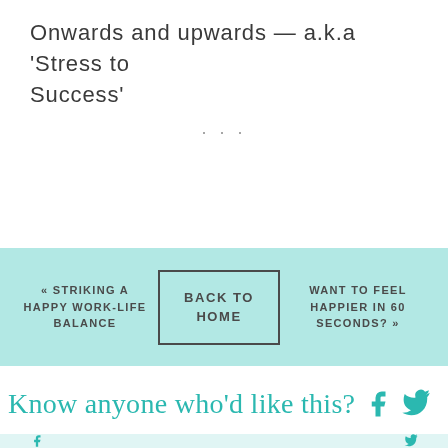Onwards and upwards — a.k.a 'Stress to Success'
...
« STRIKING A HAPPY WORK-LIFE BALANCE
BACK TO HOME
WANT TO FEEL HAPPIER IN 60 SECONDS? »
Know anyone who'd like this?